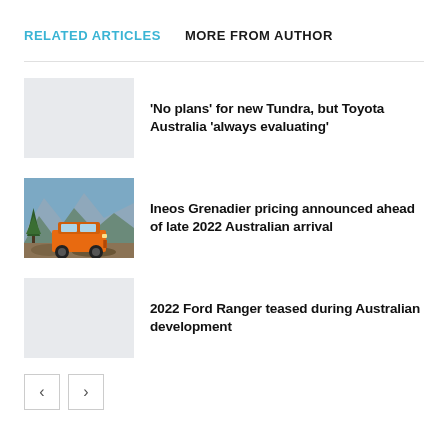RELATED ARTICLES   MORE FROM AUTHOR
[Figure (photo): Placeholder image for Toyota Tundra article]
'No plans' for new Tundra, but Toyota Australia 'always evaluating'
[Figure (photo): Orange Ineos Grenadier SUV driving on rocky mountain terrain]
Ineos Grenadier pricing announced ahead of late 2022 Australian arrival
[Figure (photo): Placeholder image for Ford Ranger article]
2022 Ford Ranger teased during Australian development